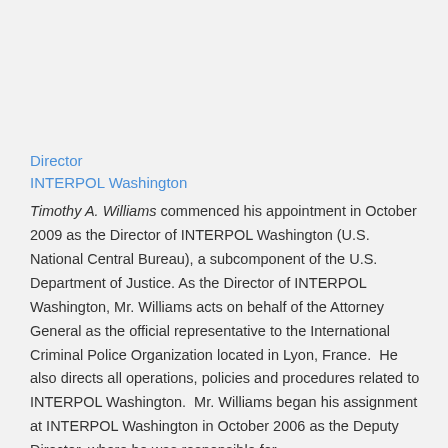Director
INTERPOL Washington
Timothy A. Williams commenced his appointment in October 2009 as the Director of INTERPOL Washington (U.S. National Central Bureau), a subcomponent of the U.S. Department of Justice. As the Director of INTERPOL Washington, Mr. Williams acts on behalf of the Attorney General as the official representative to the International Criminal Police Organization located in Lyon, France.  He also directs all operations, policies and procedures related to INTERPOL Washington.  Mr. Williams began his assignment at INTERPOL Washington in October 2006 as the Deputy Director, where he was responsible for